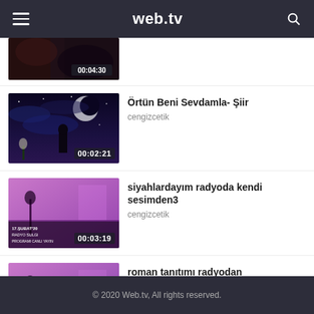web.tv
[Figure (screenshot): Partially visible video thumbnail with duration 00:04:30, dark scene]
[Figure (screenshot): Video thumbnail with night sky and silhouette, duration 00:02:21]
Örtün Beni Sevdamla- Şiir
cengizcetik
[Figure (screenshot): Video thumbnail with purple-tinted radio studio scene, duration 00:03:19]
siyahlardayım radyoda kendi sesimden3
cengizcetik
[Figure (screenshot): Video thumbnail with purple-tinted radio studio scene, duration 00:02:44]
roman tanıtımı radyodan
cengizcetik
© 2020 Web.tv, All rights reserved.